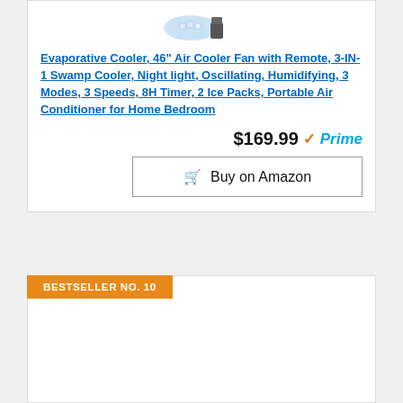[Figure (photo): Product image of an evaporative cooler/air cooler fan, partially visible at top of card]
Evaporative Cooler, 46" Air Cooler Fan with Remote, 3-IN-1 Swamp Cooler, Night light, Oscillating, Humidifying, 3 Modes, 3 Speeds, 8H Timer, 2 Ice Packs, Portable Air Conditioner for Home Bedroom
$169.99 Prime
Buy on Amazon
BESTSELLER NO. 10